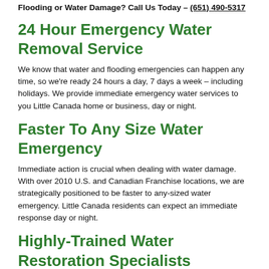Flooding or Water Damage? Call Us Today – (651) 490-5317
24 Hour Emergency Water Removal Service
We know that water and flooding emergencies can happen any time, so we're ready 24 hours a day, 7 days a week – including holidays. We provide immediate emergency water services to you Little Canada home or business, day or night.
Faster To Any Size Water Emergency
Immediate action is crucial when dealing with water damage. With over 2010 U.S. and Canadian Franchise locations, we are strategically positioned to be faster to any-sized water emergency. Little Canada residents can expect an immediate response day or night.
Highly-Trained Water Restoration Specialists